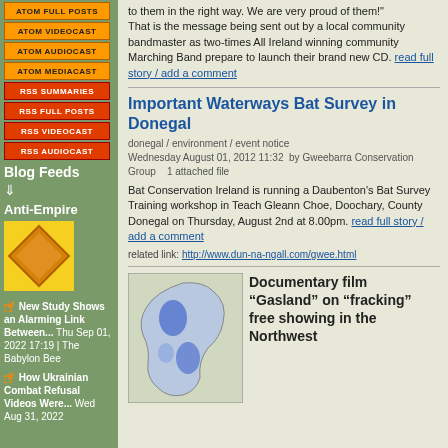[Figure (other): Feed buttons: ATOM FULL POSTS, ATOM VIDEOCAST, ATOM AUDIOCAST, ATOM MEDIACAST, RSS SUMMARIES, RSS FULL POSTS, RSS VIDEOCAST, RSS AUDIOCAST]
Blog Feeds
⇓
Anti-Empire
[Figure (logo): Anti-Empire logo: orange diamond shape on yellow background]
New Study Shows an Alarming Link Between... Thu Sep 01, 2022 17:19 | The Babylon Bee
How Ukrainian Combat Refusal Videos Were... Wed Aug 31, 2022
to them in the right way. We are very proud of them!"
That is the message being sent out by a local community bandmaster as two-times All Ireland winning community Marching Band prepare to launch their brand new CD.
read full story / add a comment
Important Waterways Bat Survey in Donegal
donegal / environment / event notice
Wednesday August 01, 2012 11:32  by Gweebarra Conservation Group    1 attached file
Bat Conservation Ireland is running a Daubenton's Bat Survey Training workshop in Teach Gleann Choe, Doochary, County Donegal on Thursday, August 2nd at 8.00pm.
read full story / add a comment
related link: http://www.dun-na-ngall.com/gwee.html
[Figure (map): Map of Ireland showing regions highlighted in blue]
Documentary film "Gasland" on "fracking" free showing in the Northwest